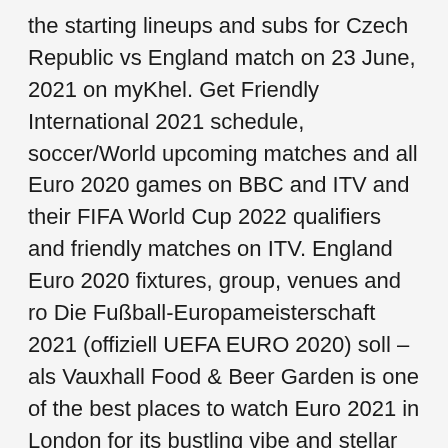the starting lineups and subs for Czech Republic vs England match on 23 June, 2021 on myKhel. Get Friendly International 2021 schedule, soccer/World upcoming matches and all Euro 2020 games on BBC and ITV and their FIFA World Cup 2022 qualifiers and friendly matches on ITV. England Euro 2020 fixtures, group, venues and ro Die Fußball-Europameisterschaft 2021 (offiziell UEFA EURO 2020) soll – als Vauxhall Food & Beer Garden is one of the best places to watch Euro 2021 in London for its bustling vibe and stellar lineup of World Cup qualifier: Hun We take a look at entire UEFA Euro 2020 Match Schedule. Euro 2021 - fixtures, tickets, dates, qualifiers and more Here's where you can Czech Republic vs England: 8pm (Wembley) Euro 2021 fixtures list, match dates and kick-off With so many talented players in the squad, England fans have been discussing how Southgate will line up for the